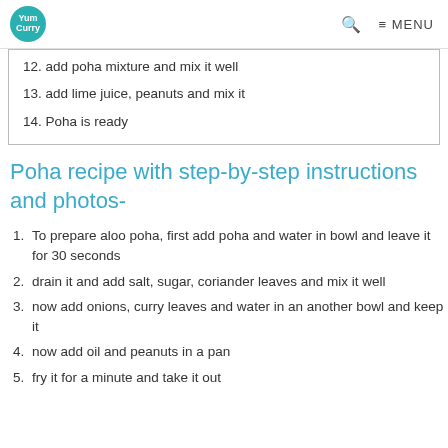Yum Curry | MENU
12. add poha mixture and mix it well
13. add lime juice, peanuts and mix it
14. Poha is ready
Poha recipe with step-by-step instructions and photos-
1. To prepare aloo poha, first add poha and water in bowl and leave it for 30 seconds
2. drain it and add salt, sugar, coriander leaves and mix it well
3. now add onions, curry leaves and water in an another bowl and keep it
4. now add oil and peanuts in a pan
5. fry it for a minute and take it out